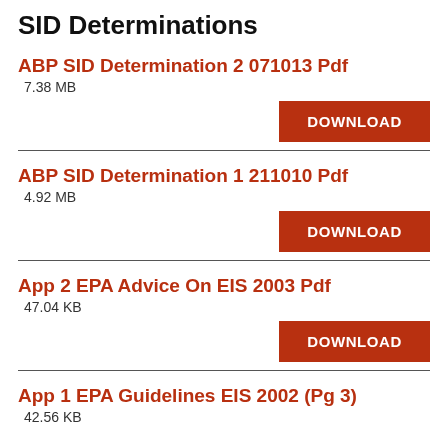SID Determinations
ABP SID Determination 2 071013 Pdf
7.38 MB
ABP SID Determination 1 211010 Pdf
4.92 MB
App 2 EPA Advice On EIS 2003 Pdf
47.04 KB
App 1 EPA Guidelines EIS 2002 (Pg 3)
42.56 KB